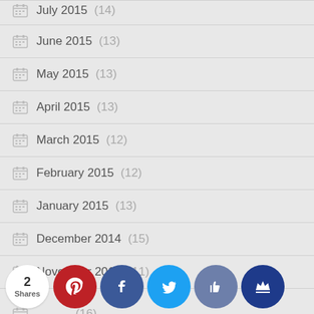July 2015 (14)
June 2015 (13)
May 2015 (13)
April 2015 (13)
March 2015 (12)
February 2015 (12)
January 2015 (13)
December 2014 (15)
November 2014 (11)
October 2014 (16)
[Figure (infographic): Social sharing bar with 2 Shares count, Pinterest (2), Facebook, Twitter, Thumbs-up, and Crown social buttons]